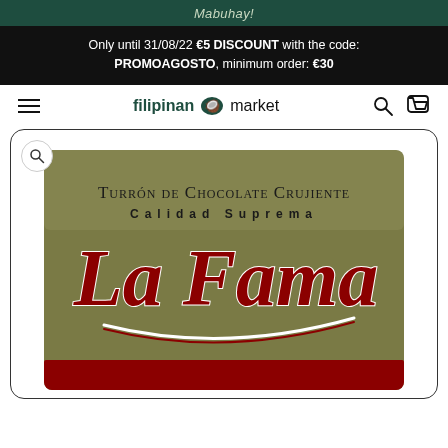Mabuhay!
Only until 31/08/22 €5 DISCOUNT with the code: PROMOAGOSTO, minimum order: €30
filipinan market
[Figure (photo): Product photo of La Fama Turrón de Chocolate Crujiente Calidad Suprema chocolate bar in gold/olive packaging with red La Fama logo and red stripe at bottom]